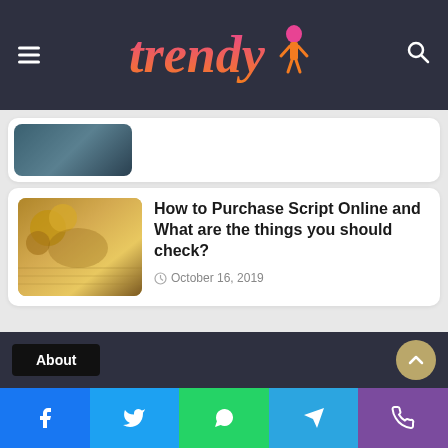Trendy
[Figure (photo): Partial view of a top article thumbnail - dark toned photo]
How to Purchase Script Online and What are the things you should check?
October 16, 2019
About
Facebook Twitter WhatsApp Telegram Viber